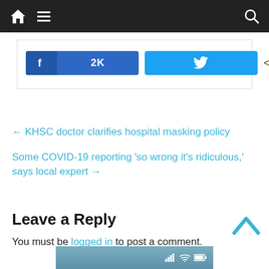Navigation bar with home icon, menu icon, and search icon
[Figure (screenshot): Social share buttons: Facebook button with 2K count, Twitter button, and share count showing 2K SHARES]
← KHSC doctor clarifies hospital masking policy
Some COVID-19 reporting 'so wrong it's ridiculous,' says local expert →
Leave a Reply
You must be logged in to post a comment.
[Figure (screenshot): Bottom mobile status bar strip showing signal, wifi, and battery icons]